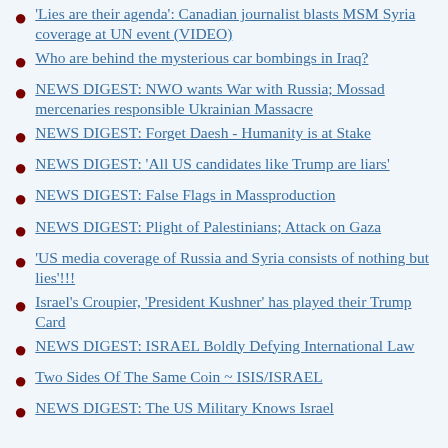'Lies are their agenda': Canadian journalist blasts MSM Syria coverage at UN event (VIDEO)
Who are behind the mysterious car bombings in Iraq?
NEWS DIGEST: NWO wants War with Russia; Mossad mercenaries responsible Ukrainian Massacre
NEWS DIGEST: Forget Daesh - Humanity is at Stake
NEWS DIGEST: 'All US candidates like Trump are liars'
NEWS DIGEST: False Flags in Massproduction
NEWS DIGEST: Plight of Palestinians; Attack on Gaza
'US media coverage of Russia and Syria consists of nothing but lies'!!!
Israel's Croupier, 'President Kushner' has played their Trump Card
NEWS DIGEST: ISRAEL Boldly Defying International Law
Two Sides Of The Same Coin ~ ISIS/ISRAEL
NEWS DIGEST: The US Military Knows Israel